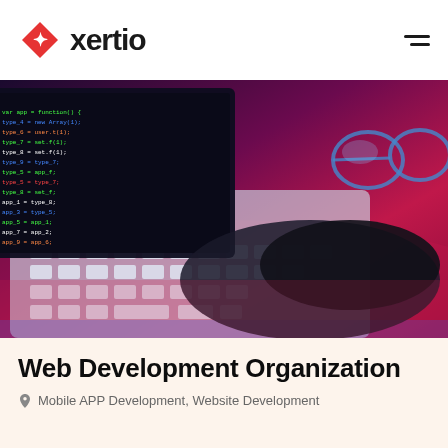Exertio
[Figure (photo): A person wearing a dark glove typing on a laptop keyboard, with code visible on the screen, lit by blue and pink/magenta neon lighting. A pair of glasses rests nearby on the desk.]
Web Development Organization
Mobile APP Development, Website Development